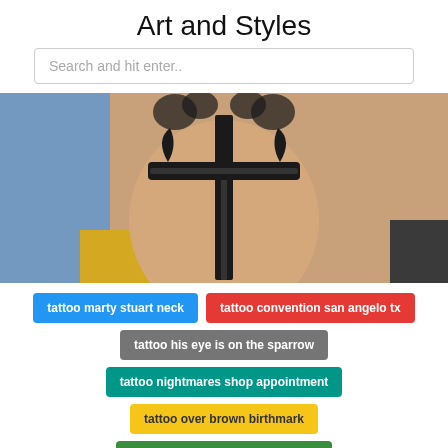Art and Styles
Search and hit enter..
[Figure (photo): Photo of a sword tattoo on a person's arm. The black ink tattoo depicts a medieval-style sword/cross design running vertically down the forearm. Background shows denim blue and yellow fabric.]
tattoo marty stuart neck
tattoo convention san angelo tx
tattoo his eye is on the sparrow
tattoo nightmares shop appointment
tattoo over brown birthmark
tattoo convention wildwood 2019